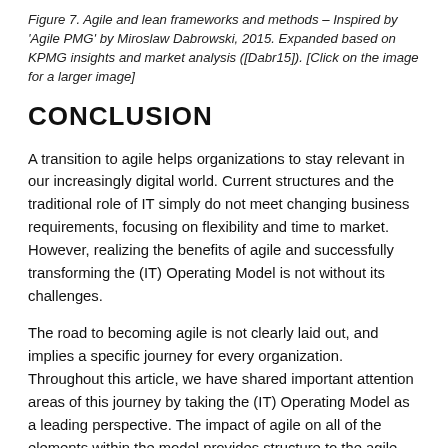Figure 7. Agile and lean frameworks and methods – Inspired by 'Agile PMG' by Miroslaw Dabrowski, 2015. Expanded based on KPMG insights and market analysis ([Dabr15]). [Click on the image for a larger image]
CONCLUSION
A transition to agile helps organizations to stay relevant in our increasingly digital world. Current structures and the traditional role of IT simply do not meet changing business requirements, focusing on flexibility and time to market. However, realizing the benefits of agile and successfully transforming the (IT) Operating Model is not without its challenges.
The road to becoming agile is not clearly laid out, and implies a specific journey for every organization. Throughout this article, we have shared important attention areas of this journey by taking the (IT) Operating Model as a leading perspective. The impact of agile on all of the elements within the model provides structure to the agile transformation, and can help guide decision making. The sequencing and prioritization of activities remain dependent on specific contexts. When helping organizations with their agile journey, it is our aim to guide the most important transformation